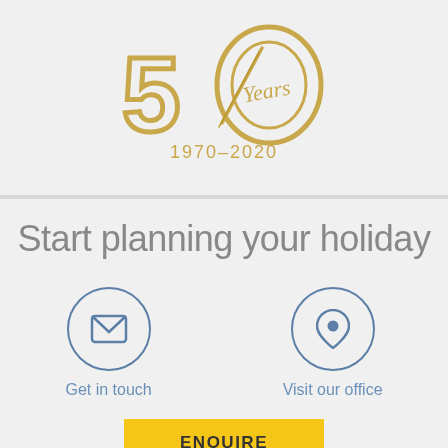[Figure (logo): 50 Years anniversary logo in gold, with text '1970-2020' beneath]
Start planning your holiday
[Figure (infographic): Two circular icon buttons: envelope icon labeled 'Get in touch' and map pin icon labeled 'Visit our office']
ENQUIRE